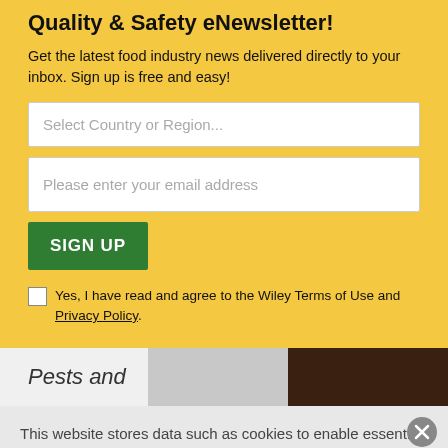Quality & Safety eNewsletter!
Get the latest food industry news delivered directly to your inbox. Sign up is free and easy!
[Figure (screenshot): Web form with country/region selector input, email address input, green SIGN UP button, and a checkbox for agreeing to Wiley Terms of Use and Privacy Policy, on yellow background]
Pests and
This website stores data such as cookies to enable essential site functionality, as well as marketing, personalization, and analytics. By remaining on this website you indicate your consent. Privacy Policy